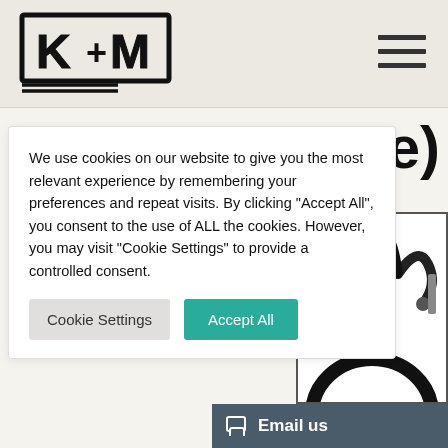[Figure (logo): K+M medical logo — block letters K+M in bold outline style with cross symbol, underlined]
[Figure (other): Hamburger menu icon — three horizontal lines]
ge)
We use cookies on our website to give you the most relevant experience by remembering your preferences and repeat visits. By clicking "Accept All", you consent to the use of ALL the cookies. However, you may visit "Cookie Settings" to provide a controlled consent.
Cookie Settings
Accept All
[Figure (photo): Partially visible medical product photo showing what appears to be a stethoscope or similar medical device, black on white background]
Email us